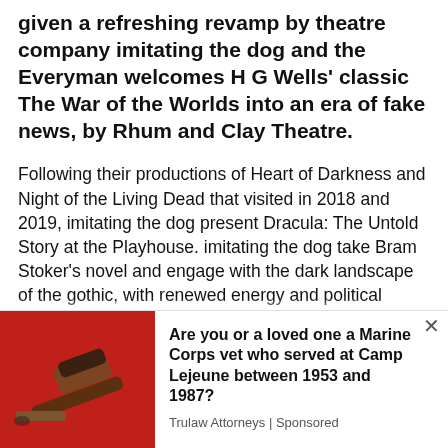given a refreshing revamp by theatre company imitating the dog and the Everyman welcomes H G Wells' classic The War of the Worlds into an era of fake news, by Rhum and Clay Theatre.
Following their productions of Heart of Darkness and Night of the Living Dead that visited in 2018 and 2019, imitating the dog present Dracula: The Untold Story at the Playhouse. imitating the dog take Bram Stoker's novel and engage with the dark landscape of the gothic, with renewed energy and political insight.
We use cookies on our website to give you the most relevant experience by remembering your preferences and repeat visits. By clicking "Accept All", you consent to the use of ALL the cookies. However, you may visit "Cookie Settings" to provide a controlled consent.
[Figure (photo): Photo of a wooden gavel on a red background, representing legal advertisement]
Are you or a loved one a Marine Corps vet who served at Camp Lejeune between 1953 and 1987?
Trulaw Attorneys | Sponsored